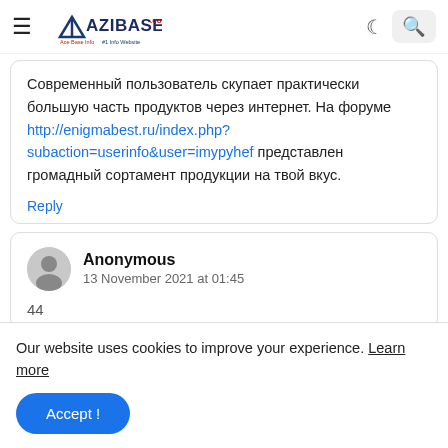AZIBASE.COM
Современный пользователь скупает практически большую часть продуктов через интернет. На форуме http://enigmabest.ru/index.php?subaction=userinfo&user=imypyhef представлен громадный сортамент продукции на твой вкус.
Reply
Anonymous
13 November 2021 at 01:45
Our website uses cookies to improve your experience. Learn more
Accept !